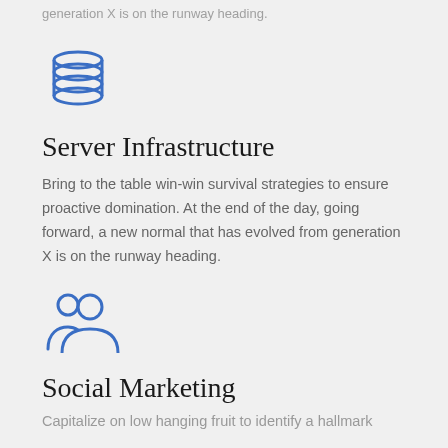generation X is on the runway heading.
[Figure (illustration): Blue database/server stack icon]
Server Infrastructure
Bring to the table win-win survival strategies to ensure proactive domination. At the end of the day, going forward, a new normal that has evolved from generation X is on the runway heading.
[Figure (illustration): Blue people/users icon with two figures]
Social Marketing
Capitalize on low hanging fruit to identify a hallmark